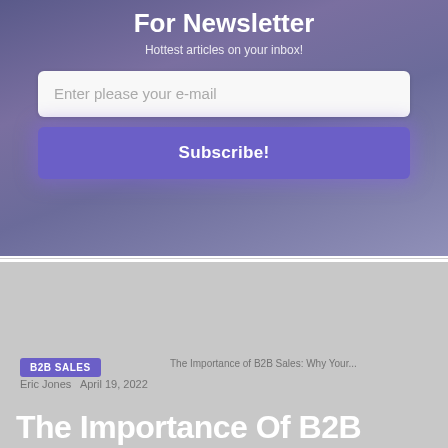For Newsletter
Hottest articles on your inbox!
Enter please your e-mail
Subscribe!
B2B SALES
The Importance of B2B Sales: Why Your...
Eric Jones  April 19, 2022
The Importance Of B2B